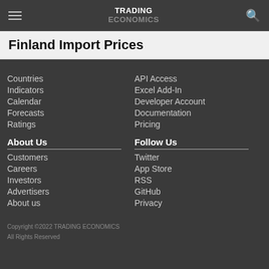TRADING ECONOMICS
Finland Import Prices
Countries
Indicators
Calendar
Forecasts
Ratings
API Access
Excel Add-In
Developer Account
Documentation
Pricing
About Us
Customers
Careers
Investors
Advertisers
About us
Follow Us
Twitter
App Store
RSS
GitHub
Privacy
Copyright ©2022 TRADING ECONOMICS
All Rights Reserved